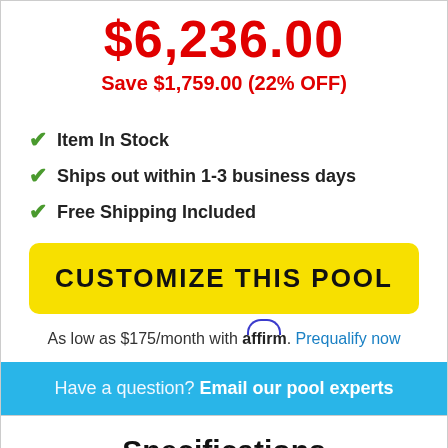$6,236.00
Save $1,759.00 (22% OFF)
Item In Stock
Ships out within 1-3 business days
Free Shipping Included
CUSTOMIZE THIS POOL
As low as $175/month with affirm. Prequalify now
Have a question? Email our pool experts
Specifications